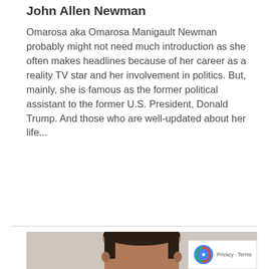John Allen Newman
Omarosa aka Omarosa Manigault Newman probably might not need much introduction as she often makes headlines because of her career as a reality TV star and her involvement in politics. But, mainly, she is famous as the former political assistant to the former U.S. President, Donald Trump. And those who are well-updated about her life...
[Figure (other): Read More button in cyan/teal color]
[Figure (photo): Head and shoulders photo of a man with glasses and short dark hair, photographed against a light wooden background. A reCAPTCHA badge is visible in the bottom right corner with Privacy and Terms text.]